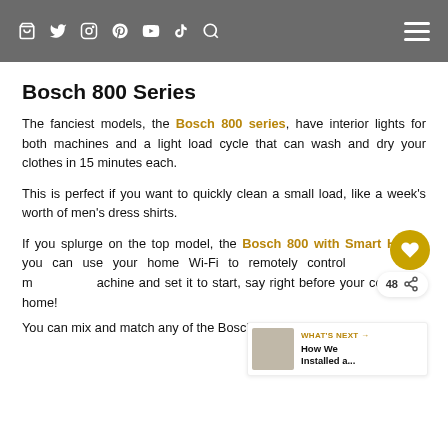Navigation bar with social icons and menu
Bosch 800 Series
The fanciest models, the Bosch 800 series, have interior lights for both machines and a light load cycle that can wash and dry your clothes in 15 minutes each.
This is perfect if you want to quickly clean a small load, like a week's worth of men's dress shirts.
If you splurge on the top model, the Bosch 800 with Smart Home, you can use your home Wi-Fi to remotely control 48 in machine and set it to start, say right before your come home!
You can mix and match any of the Bosch models as they're